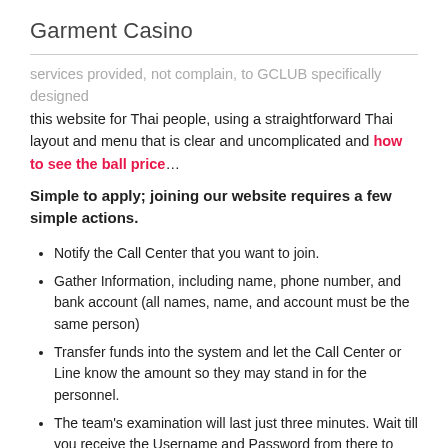Garment Casino
services provided, not complain, to GCLUB specifically designed this website for Thai people, using a straightforward Thai layout and menu that is clear and uncomplicated and how to see the ball price…
Simple to apply; joining our website requires a few simple actions.
Notify the Call Center that you want to join.
Gather Information, including name, phone number, and bank account (all names, name, and account must be the same person)
Transfer funds into the system and let the Call Center or Line know the amount so they may stand in for the personnel.
The team's examination will last just three minutes. Wait till you receive the Username and Password from there to use it.